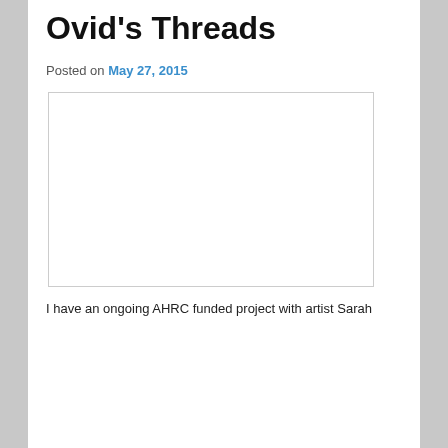Ovid's Threads
Posted on May 27, 2015
[Figure (photo): A large white/blank image placeholder with a light border]
I have an ongoing AHRC funded project with artist Sarah